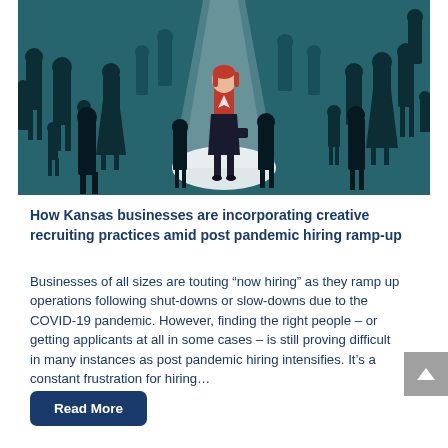[Figure (illustration): An illustration of a crowd of dark silhouette figures on a teal/dark background, with one red-dressed woman spotlighted in the center under a white spotlight beam, representing recruitment or hiring concept.]
How Kansas businesses are incorporating creative recruiting practices amid post pandemic hiring ramp-up
Businesses of all sizes are touting “now hiring” as they ramp up operations following shut-downs or slow-downs due to the COVID-19 pandemic. However, finding the right people – or getting applicants at all in some cases – is still proving difficult in many instances as post pandemic hiring intensifies. It’s a constant frustration for hiring…
Read More